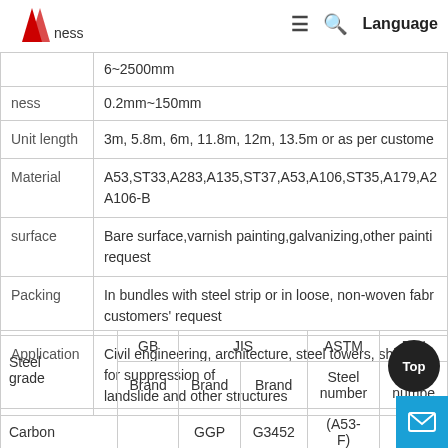Language
| Property | Value |
| --- | --- |
|  | 6~2500mm |
| ness | 0.2mm~150mm |
| Unit length | 3m, 5.8m, 6m, 11.8m, 12m, 13.5m or as per customer |
| Material | A53,ST33,A283,A135,ST37,A53,A106,ST35,A179,A2 A106-B |
| surface | Bare surface,varnish painting,galvanizing,other painti request |
| Packing | In bundles with steel strip or in loose, non-woven fab customers' request |
| Application | Civil engineering, architecture, steel towers, shipyard for suppression of landslide and other structures |
| Steel grade | GB Brand | JIS Brand | JIS Brand | ASTM Steel number | DIN Steel number |
| --- | --- | --- | --- | --- | --- |
| Carbon |  | GGP | G3452 | (A53-F) |  |